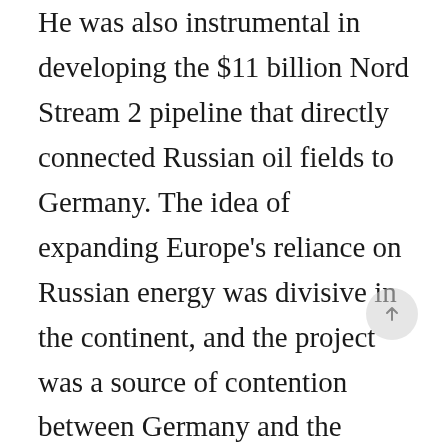He was also instrumental in developing the $11 billion Nord Stream 2 pipeline that directly connected Russian oil fields to Germany. The idea of expanding Europe's reliance on Russian energy was divisive in the continent, and the project was a source of contention between Germany and the United States. Two days before Russia invaded Ukraine, current German Chancellor Olaf Scholz blocked the pipeline's approval.